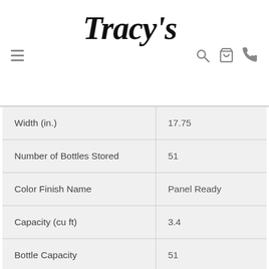Tracy's
| Attribute | Value |
| --- | --- |
| Width (in.) | 17.75 |
| Number of Bottles Stored | 51 |
| Color Finish Name | Panel Ready |
| Capacity (cu ft) | 3.4 |
| Bottle Capacity | 51 |
| Custom Panel Ready | Yes |
| Total Capacity (cu. ft.) | 3.4 |